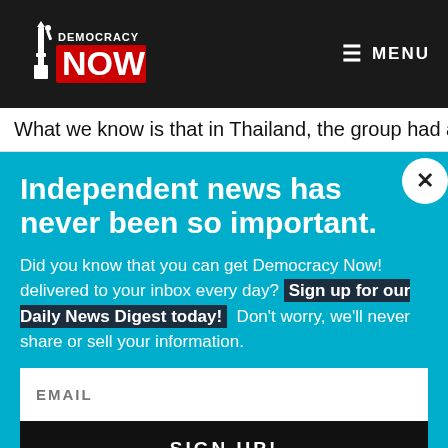Democracy Now! — MENU
What we know is that in Thailand, the group had a patron,
Independent news has never been so important.
Did you know that you can get Democracy Now! delivered to your inbox every day? Sign up for our Daily News Digest today! Don't worry, we'll never share or sell your information.